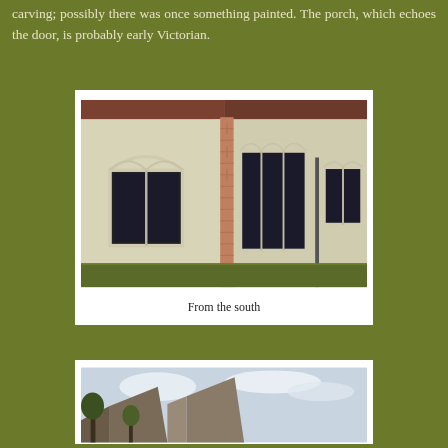carving; possibly there was once something painted. The porch, which echoes the door, is probably early Victorian.
[Figure (photo): Photograph of the south side of a church building showing rendered walls with Gothic arched windows and a brick quoin, with a tiled roof visible above. Three Gothic windows are visible.]
From the south
[Figure (photo): Partial photograph of a church showing the roof and upper structure against a cloudy sky, with trees visible.]